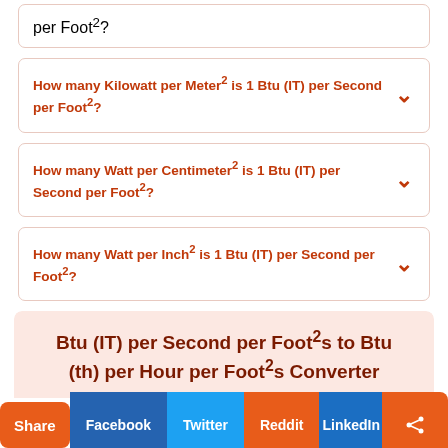per Foot²?
How many Kilowatt per Meter² is 1 Btu (IT) per Second per Foot²?
How many Watt per Centimeter² is 1 Btu (IT) per Second per Foot²?
How many Watt per Inch² is 1 Btu (IT) per Second per Foot²?
Btu (IT) per Second per Foot²s to Btu (th) per Hour per Foot²s Converter
Units of measurement use the International System of Units, better known as SI units, which provide a standard for measuring the physical properties of matter. Measurement like heat flux
Share | Facebook | Twitter | Reddit | LinkedIn